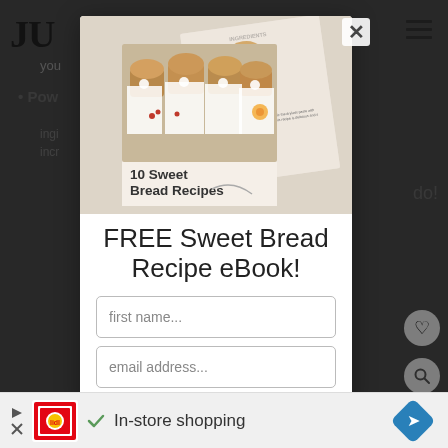[Figure (screenshot): Website screenshot with dark background showing partial page content including logo 'JU', bullet point text 'Pow' and body text, with hamburger menu icon top right]
[Figure (illustration): Modal popup overlay showing a recipe ebook cover with image of sweet breads/mini loaves with white ribbons titled '10 Sweet Bread Recipes', a close X button in top right of modal]
FREE Sweet Bread Recipe eBook!
first name...
email address...
[Figure (infographic): Bottom advertisement bar showing Lidl logo, play/close icons, checkmark, text 'In-store shopping', and blue diamond navigation icon]